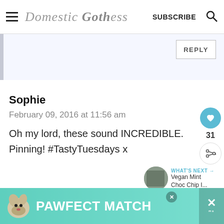Domestic Gothess — SUBSCRIBE
[Figure (screenshot): Partially visible comment reply area with light blue background and REPLY button]
Sophie
February 09, 2016 at 11:56 am
Oh my lord, these sound INCREDIBLE. Pinning! #TastyTuesdays x
[Figure (infographic): Heart button (teal circle with heart icon), count 31, and share button]
WHAT'S NEXT → Vegan Mint Choc Chip I...
[Figure (photo): Ad banner: dog image with PAWFECT MATCH text on teal background]